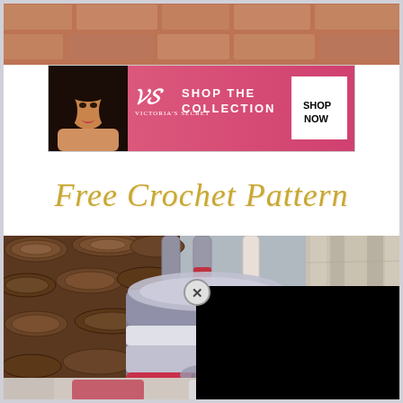[Figure (photo): Top strip showing a partial crochet or textile item in warm reddish-brown tones, likely the top portion of the main crochet backpack photo]
[Figure (screenshot): Victoria's Secret advertisement banner with pink background, model with curly hair, VS logo, 'SHOP THE COLLECTION' text, and 'SHOP NOW' white button]
Free Crochet Pattern
[Figure (photo): Large photo of a grey, white, and red/coral striped crochet backpack hanging outdoors against a backdrop of stacked firewood logs and a wooden wall/fence]
[Figure (screenshot): Black overlay box covering the right portion of the main image, likely an advertisement or video overlay with a close (X) button]